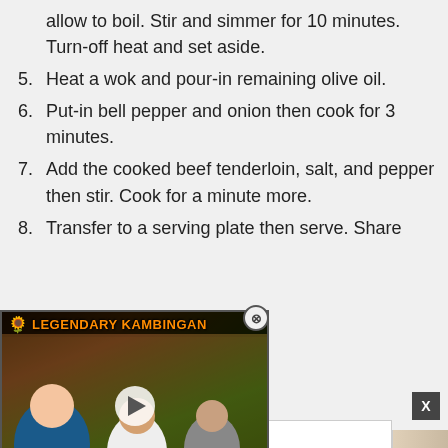allow to boil. Stir and simmer for 10 minutes. Turn-off heat and set aside.
5. Heat a wok and pour-in remaining olive oil.
6. Put-in bell pepper and onion then cook for 3 minutes.
7. Add the cooked beef tenderloin, salt, and pepper then stir. Cook for a minute more.
8. Transfer to a serving plate then serve. Share
[Figure (screenshot): Video popup thumbnail for 'Legendary Kambingan' with play button overlay and close (X) button, showing people eating at restaurant.]
[Figure (other): Advertisement box with X close button and partial side images.]